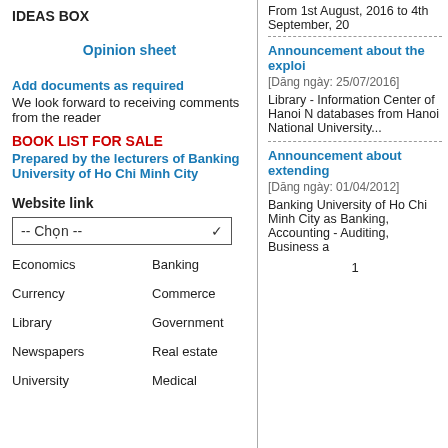IDEAS BOX
Opinion sheet
Add documents as required
We look forward to receiving comments from the reader
BOOK LIST FOR SALE
Prepared by the lecturers of Banking University of Ho Chi Minh City
Website link
-- Chọn --
Economics
Banking
Currency
Commerce
Library
Government
Newspapers
Real estate
University
Medical
From 1st August, 2016 to 4th September, 20
Announcement about the exploi
[Dāng ngày: 25/07/2016]
Library - Information Center of Hanoi N databases from Hanoi National University...
Announcement about extending
[Dāng ngày: 01/04/2012]
Banking University of Ho Chi Minh City as Banking, Accounting - Auditing, Business a
1